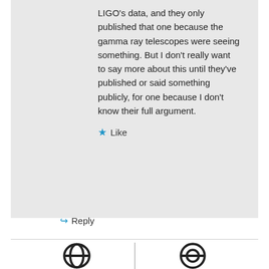LIGO's data, and they only published that one because the gamma ray telescopes were seeing something. But I don't really want to say more about this until they've published or said something publicly, for one because I don't know their full argument.
Like
Reply
[Figure (logo): Two partial logos visible at the bottom of the page]